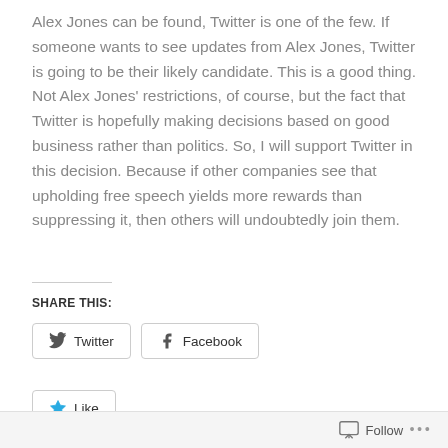Alex Jones can be found, Twitter is one of the few. If someone wants to see updates from Alex Jones, Twitter is going to be their likely candidate. This is a good thing. Not Alex Jones' restrictions, of course, but the fact that Twitter is hopefully making decisions based on good business rather than politics. So, I will support Twitter in this decision. Because if other companies see that upholding free speech yields more rewards than suppressing it, then others will undoubtedly join them.
SHARE THIS:
[Figure (screenshot): Twitter and Facebook share buttons, and a Like button with a star icon]
Follow ...